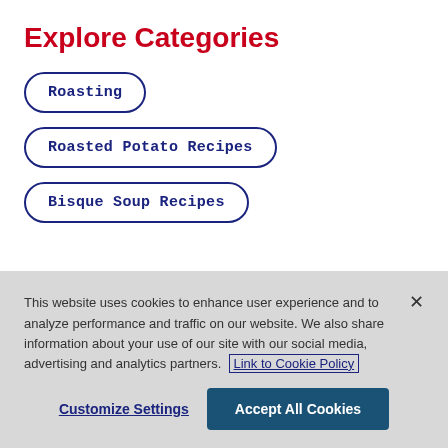Explore Categories
Roasting
Roasted Potato Recipes
Bisque Soup Recipes
This website uses cookies to enhance user experience and to analyze performance and traffic on our website. We also share information about your use of our site with our social media, advertising and analytics partners. Link to Cookie Policy
Customize Settings
Accept All Cookies